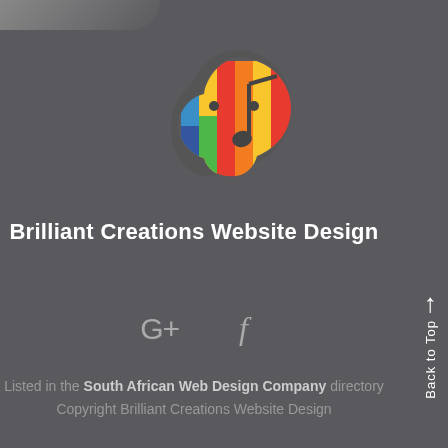[Figure (logo): Rainbow-colored brain icon logo for Brilliant Creations Website Design]
Brilliant Creations Website Design
[Figure (infographic): Social media icons: Google+ and Facebook]
Listed in the South African Web Design Company directory
Copyright Brilliant Creations Website Design